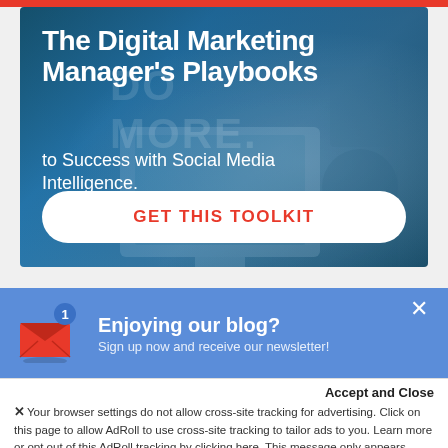[Figure (screenshot): Hero banner with dark blue tinted background showing a desk with computer monitor. Contains bold white title text and a call-to-action button.]
The Digital Marketing Manager’s Playbooks
to Success with Social Media Intelligence.
GET THIS TOOLKIT
[Figure (infographic): Blue newsletter subscription bar with red envelope icon showing badge number 1, heading 'Enjoying our blog?' and subtext 'Sign up now and receive our newsletter!' with an X close button.]
Enjoying our blog?
Sign up now and receive our newsletter!
Accept and Close
×Your browser settings do not allow cross-site tracking for advertising. Click on this page to allow AdRoll to use cross-site tracking to tailor ads to you. Learn more or opt out of this AdRoll tracking by clicking here. This message only appears once.